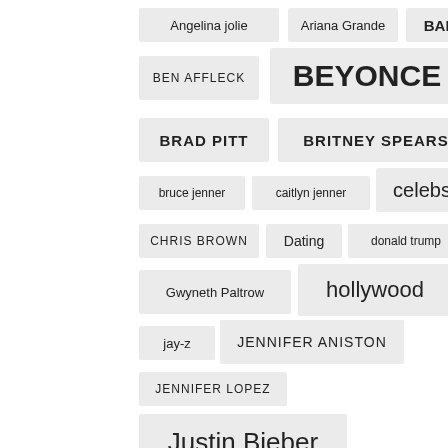[Figure (infographic): Tag cloud of celebrity names and topics displayed as pill-shaped boxes of varying font sizes, representing search popularity or frequency. Tags include: Angelina jolie, Ariana Grande, BABY, BEN AFFLECK, BEYONCE, BRAD PITT, BRITNEY SPEARS, bruce jenner, caitlyn jenner, celebs, CHRIS BROWN, Dating, donald trump, Gwyneth Paltrow, hollywood, jay-z, JENNIFER ANISTON, JENNIFER LOPEZ, Justin Bieber, kanye west, KARDASHIAN]